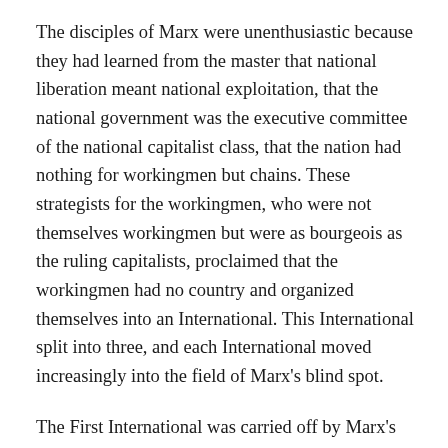The disciples of Marx were unenthusiastic because they had learned from the master that national liberation meant national exploitation, that the national government was the executive committee of the national capitalist class, that the nation had nothing for workingmen but chains. These strategists for the workingmen, who were not themselves workingmen but were as bourgeois as the ruling capitalists, proclaimed that the workingmen had no country and organized themselves into an International. This International split into three, and each International moved increasingly into the field of Marx's blind spot.
The First International was carried off by Marx's one-time Russian translator and then antagonist Bakunin, an inveterate rebel who had been a fervent nationalist until he'd learned about exploitation from Marx.